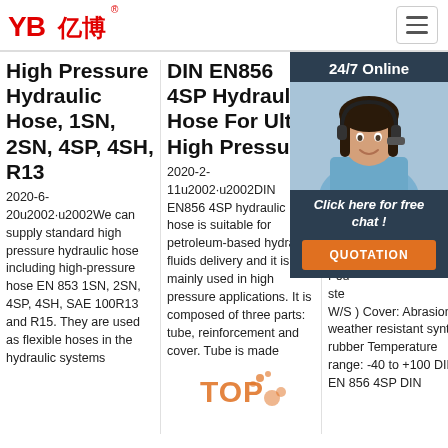[Figure (logo): YB亿博 company logo in red with registered trademark symbol, followed by hamburger menu icon]
High Pressure Hydraulic Hose, 1SN, 2SN, 4SP, 4SH, R13
2020-6-20u2002·u2002We can supply standard high pressure hydraulic hose including high-pressure hose EN 853 1SN, 2SN, 4SP, 4SH, SAE 100R13 and R15. They are used as flexible hoses in the hydraulic systems
DIN EN856 4SP Hydraulic Hose For Ultra High Pressure
2020-2-11u2002·u2002DIN EN856 4SP hydraulic hose is suitable for petroleum-based hydraulic fluids delivery and it is mainly used in high pressure applications. It is composed of three parts: tube, reinforcement and cover. Tube is made
China High Quality Hydraulic Hose Hydraulic Hose
Tube: synthetic Reinforcement: Four spiral steel wires ( W/S ) Cover: Abrasion and weather resistant synthetic rubber Temperature range: -40 to +100 DIN EN 856 4SP DIN
[Figure (photo): 24/7 Online chat widget showing a woman with headset, with 'Click here for free chat!' text and QUOTATION button]
[Figure (other): TOP watermark text in orange with decorative elements]